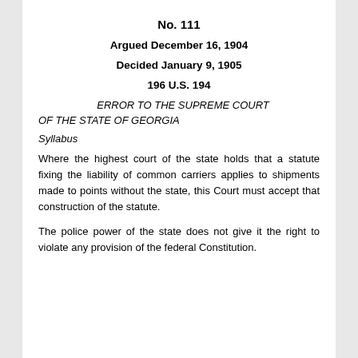No. 111
Argued December 16, 1904
Decided January 9, 1905
196 U.S. 194
ERROR TO THE SUPREME COURT OF THE STATE OF GEORGIA
Syllabus
Where the highest court of the state holds that a statute fixing the liability of common carriers applies to shipments made to points without the state, this Court must accept that construction of the statute.
The police power of the state does not give it the right to violate any provision of the federal Constitution.